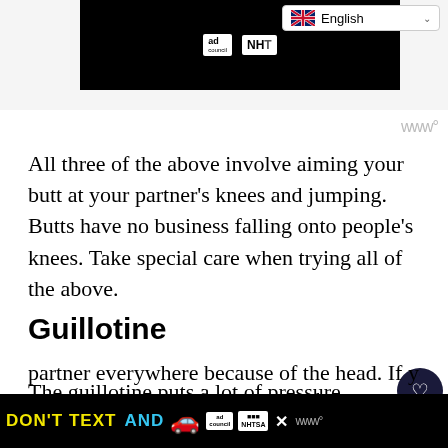[Figure (screenshot): Top banner area with black video block showing ad council and NHTSA logos, and English language selector in top right]
All three of the above involve aiming your butt at your partner's knees and jumping. Butts have no business falling onto people's knees. Take special care when trying all of the above.
Guillotine
The guillotine puts a lot of pressure on the [neck]. Tap soon and you'll have no problem. However, know when to let go as well. You can't follow your partner everywhere because of the head. If you ca[n't answer]
[Figure (screenshot): Bottom advertisement banner: DON'T TEXT AND [car emoji] with ad council and NHTSA logos on black background]
ca[n]                                                                                        [answer]